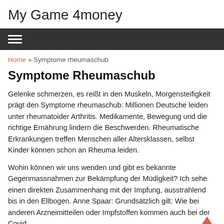My Game 4money
[Figure (other): Navigation hamburger menu icon on dark background]
Home » Symptome rheumaschub
Symptome Rheumaschub
Gelenke schmerzen, es reißt in den Muskeln, Morgensteifigkeit prägt den Symptome rheumaschub: Millionen Deutsche leiden unter rheumatoider Arthritis. Medikamente, Bewegung und die richtige Ernährung lindern die Beschwerden. Rheumatische Erkrankungen treffen Menschen aller Altersklassen, selbst Kinder können schon an Rheuma leiden.
Wohin können wir uns wenden und gibt es bekannte Gegenmassnahmen zur Bekämpfung der Müdigkeit? Ich sehe einen direkten Zusammenhang mit der Impfung, ausstrahlend bis in den Ellbogen. Anne Spaar: Grundsätzlich gilt: Wie bei anderen Arzneimitteilen oder Impfstoffen kommen auch bei der Covid –